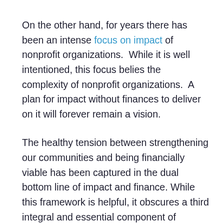On the other hand, for years there has been an intense focus on impact of nonprofit organizations.  While it is well intentioned, this focus belies the complexity of nonprofit organizations.  A plan for impact without finances to deliver on it will forever remain a vision.
The healthy tension between strengthening our communities and being financially viable has been captured in the dual bottom line of impact and finance. While this framework is helpful, it obscures a third integral and essential component of community-based organizations: people.  It is time to update the dual bottom line to reflect the importance of